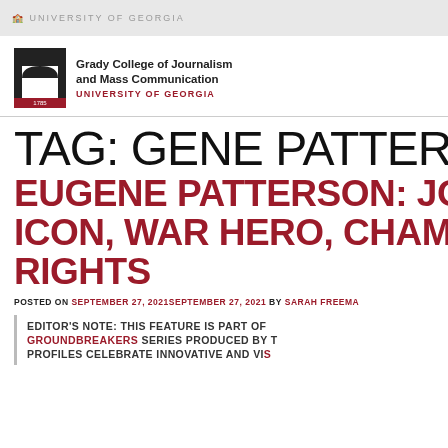UNIVERSITY OF GEORGIA
[Figure (logo): Grady College of Journalism and Mass Communication, University of Georgia logo with arch icon]
TAG: GENE PATTERSON
EUGENE PATTERSON: JOURNALISM ICON, WAR HERO, CHAMPION OF CIVIL RIGHTS
POSTED ON SEPTEMBER 27, 2021SEPTEMBER 27, 2021 BY SARAH FREEMAN
EDITOR'S NOTE: THIS FEATURE IS PART OF THE GROUNDBREAKERS SERIES PRODUCED BY THE GRADY COLLEGE. PROFILES CELEBRATE INNOVATIVE AND VISIONARY